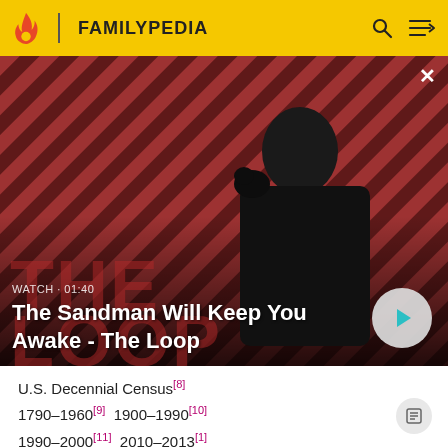FAMILYPEDIA
[Figure (screenshot): Video thumbnail with dark-clad figure against red and black diagonal striped background. Shows 'WATCH · 01:40' label and title 'The Sandman Will Keep You Awake - The Loop' with a play button.]
U.S. Decennial Census[8] 1790-1960[9] 1900-1990[10] 1990-2000[11] 2010-2013[1]
2010 census